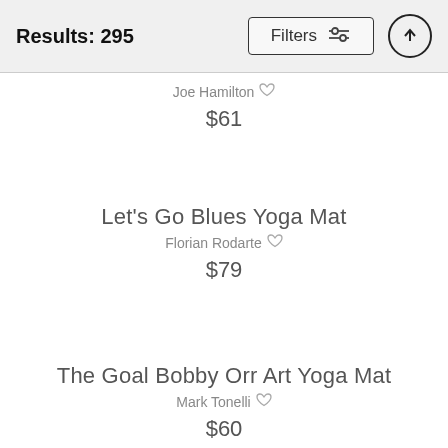Results: 295  Filters  ↑
Joe Hamilton $61
Let's Go Blues Yoga Mat
Florian Rodarte $79
The Goal Bobby Orr Art Yoga Mat
Mark Tonelli $60